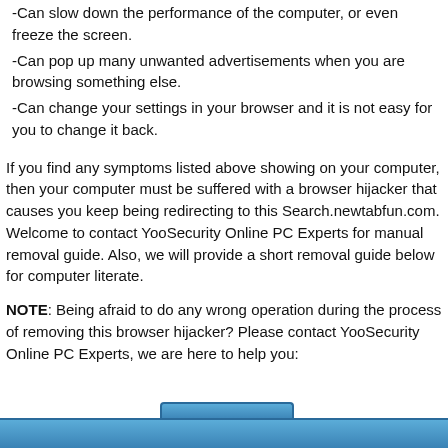-Can slow down the performance of the computer, or even freeze the screen.
-Can pop up many unwanted advertisements when you are browsing something else.
-Can change your settings in your browser and it is not easy for you to change it back.
If you find any symptoms listed above showing on your computer, then your computer must be suffered with a browser hijacker that causes you keep being redirecting to this Search.newtabfun.com. Welcome to contact YooSecurity Online PC Experts for manual removal guide. Also, we will provide a short removal guide below for computer literate.
NOTE: Being afraid to do any wrong operation during the process of removing this browser hijacker? Please contact YooSecurity Online PC Experts, we are here to help you:
[Figure (other): Blue navigation bar at bottom of page with tab]